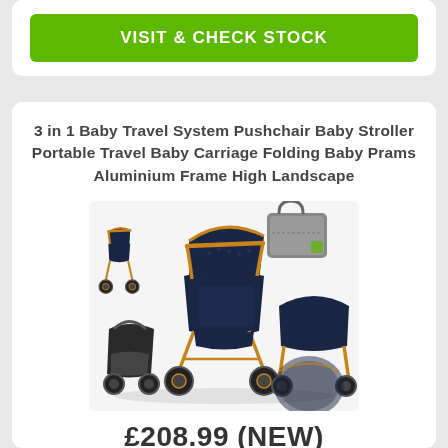VISIT & CHECK STOCK
3 in 1 Baby Travel System Pushchair Baby Stroller Portable Travel Baby Carriage Folding Baby Prams Aluminium Frame High Landscape
[Figure (photo): Product photo showing a 3-in-1 baby travel system with pushchair, carrycot, car seat, rain cover, and changing bag. Frame is gold/copper-coloured with navy blue fabric.]
£208.99 (NEW)